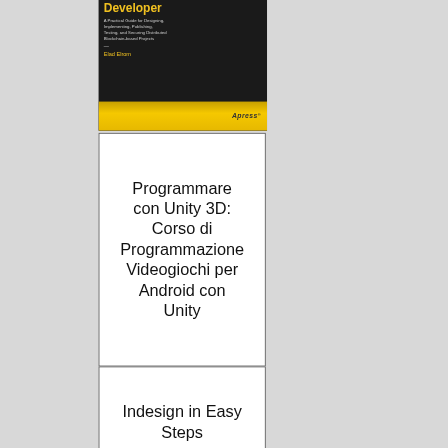[Figure (photo): Book cover of a blockchain developer guide published by Apress. Black background with yellow title text reading 'Developer', subtitle 'A Practical Guide for Designing, Implementing, Publishing, Testing, and Securing Distributed Blockchain-based Projects', author name 'Elad Elrom', and yellow Apress logo at the bottom on a yellow band.]
Programmare con Unity 3D: Corso di Programmazione Videogiochi per Android con Unity
Indesign in Easy Steps